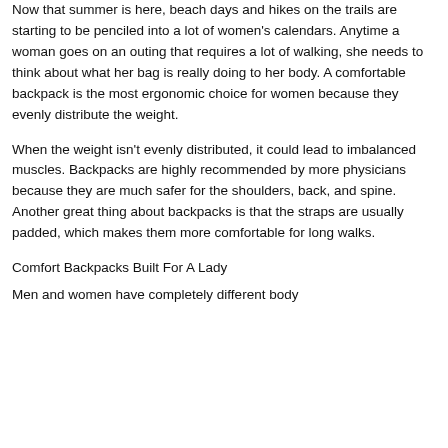Now that summer is here, beach days and hikes on the trails are starting to be penciled into a lot of women's calendars. Anytime a woman goes on an outing that requires a lot of walking, she needs to think about what her bag is really doing to her body. A comfortable backpack is the most ergonomic choice for women because they evenly distribute the weight.
When the weight isn't evenly distributed, it could lead to imbalanced muscles. Backpacks are highly recommended by more physicians because they are much safer for the shoulders, back, and spine. Another great thing about backpacks is that the straps are usually padded, which makes them more comfortable for long walks.
Comfort Backpacks Built For A Lady
Men and women have completely different body